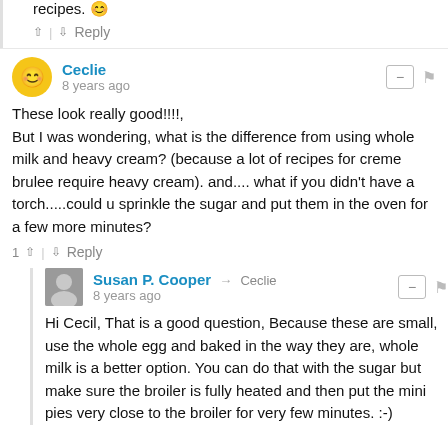recipes. :)
↑ | ↓ Reply
Ceclie
8 years ago
These look really good!!!!, But I was wondering, what is the difference from using whole milk and heavy cream? (because a lot of recipes for creme brulee require heavy cream). and.... what if you didn't have a torch.....could u sprinkle the sugar and put them in the oven for a few more minutes?
1 ↑ | ↓ Reply
Susan P. Cooper → Ceclie
8 years ago
Hi Cecil, That is a good question, Because these are small, use the whole egg and baked in the way they are, whole milk is a better option. You can do that with the sugar but make sure the broiler is fully heated and then put the mini pies very close to the broiler for very few minutes. :-)